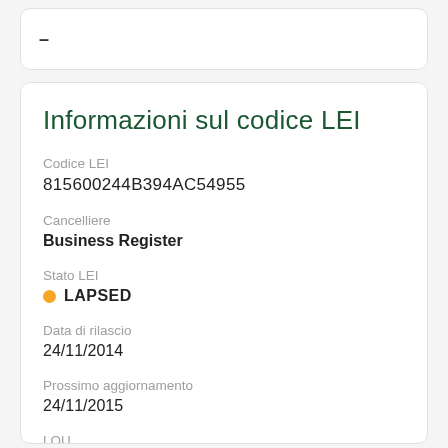–
Informazioni sul codice LEI
Codice LEI
815600244B394AC54955
Cancelliere
Business Register
Stato LEI
LAPSED
Data di rilascio
24/11/2014
Prossimo aggiornamento
24/11/2015
LOU